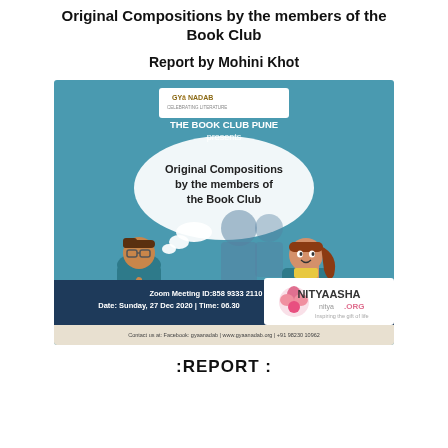Original Compositions by the members of the Book Club
Report by Mohini Khot
[Figure (illustration): Illustrated book club event poster from Gyanadab - The Book Club Pune. Shows two cartoon characters (a man writing at a desk and a woman thinking) with a speech bubble reading 'Original Compositions by the members of the Book Club'. Contains Zoom meeting details: Meeting ID: 858 9333 2110, Date: Sunday, 27 Dec 2020, Time: 06.30. Contact: Facebook: gyaanadab | www.gyaanadab.org | +91 98230 10962. Also shows NityaAsha.org logo overlay.]
:REPORT :